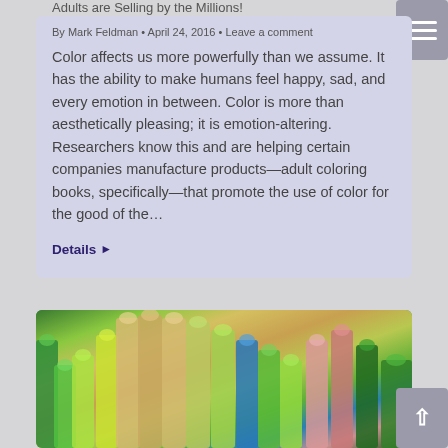Adults are Selling by the Millions!
By Mark Feldman • April 24, 2016 • Leave a comment
Color affects us more powerfully than we assume. It has the ability to make humans feel happy, sad, and every emotion in between. Color is more than aesthetically pleasing; it is emotion-altering. Researchers know this and are helping certain companies manufacture products—adult coloring books, specifically—that promote the use of color for the good of the…
Details ▶
[Figure (photo): Close-up photo of colored pencils arranged in a fan pattern, showing greens, yellows, blues, and pinks]